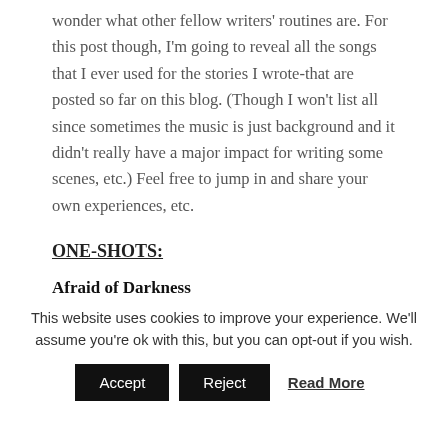wonder what other fellow writers' routines are. For this post though, I'm going to reveal all the songs that I ever used for the stories I wrote-that are posted so far on this blog. (Though I won't list all since sometimes the music is just background and it didn't really have a major impact for writing some scenes, etc.) Feel free to jump in and share your own experiences, etc.
ONE-SHOTS:
Afraid of Darkness
Afraid of Darkness (怕黑) by Bianca Bai
This website uses cookies to improve your experience. We'll assume you're ok with this, but you can opt-out if you wish.